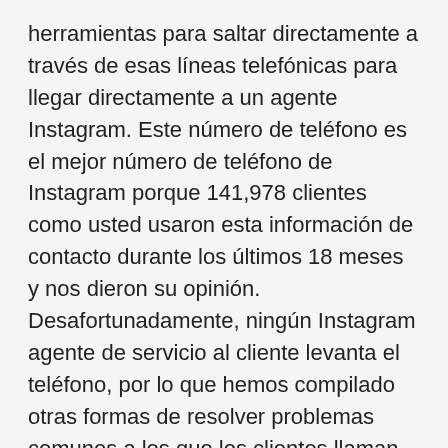herramientas para saltar directamente a través de esas líneas telefónicas para llegar directamente a un agente Instagram. Este número de teléfono es el mejor número de teléfono de Instagram porque 141,978 clientes como usted usaron esta información de contacto durante los últimos 18 meses y nos dieron su opinión. Desafortunadamente, ningún Instagram agente de servicio al cliente levanta el teléfono, por lo que hemos compilado otras formas de resolver problemas comunes a los que los clientes llaman 650-543-4800, incluidos Recover Account, Delete Account, Hacked or Disabled Accounts, Report a Problem, Something Missing on Account y otros problemas de atención al cliente. El Instagram centro de llamadas al que llama recibe respuesta de su IVR o sistema de menú de teléfono robótico que, por supuesto, está abierto 24/7. En total, Instagram tiene